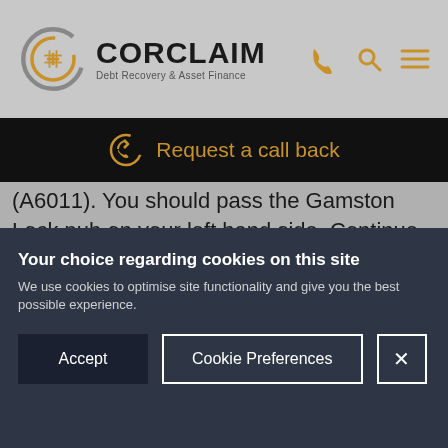[Figure (logo): Corclaim logo with circular C+hash symbol in gold/grey, company name CORCLAIM in bold black, tagline 'Debt Recovery & Asset Finance']
[Figure (infographic): Navigation icons: phone, search, and hamburger menu in gold color on grey header]
Request a call back
(A6011). You should pass the Gamston Lock pub on your left hand side. Continue on the A6011 (you will bear slightly to the right towards Colwick). Turn left onto Meadow Lane (A6011). Follow this road round and continue behind Notts County FC ground. Turn right onto London Road (A60). Take the first left onto Station Street and you will find us situated on the right hand
Your choice regarding cookies on this site
We use cookies to optimise site functionality and give you the best possible experience.
Accept
Cookie Preferences